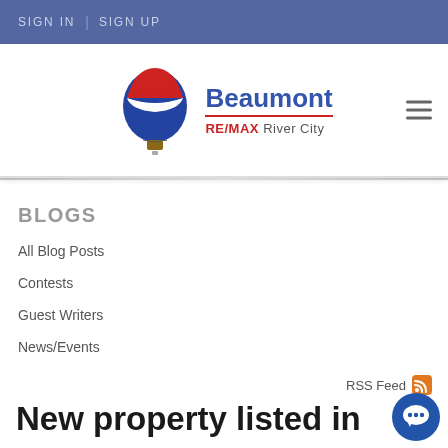SIGN IN | SIGN UP
[Figure (logo): RE/MAX Beaumont RE/MAX River City logo with hot air balloon]
BLOGS
All Blog Posts
Contests
Guest Writers
News/Events
RSS Feed
New property listed in